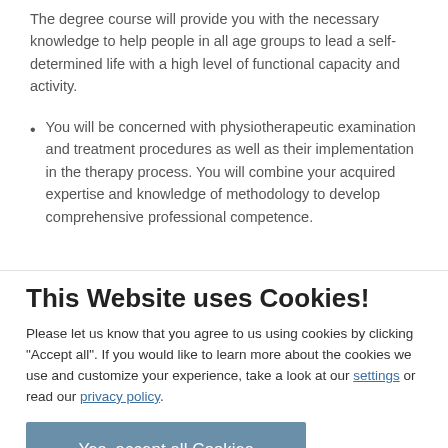The degree course will provide you with the necessary knowledge to help people in all age groups to lead a self-determined life with a high level of functional capacity and activity.
You will be concerned with physiotherapeutic examination and treatment procedures as well as their implementation in the therapy process. You will combine your acquired expertise and knowledge of methodology to develop comprehensive professional competence.
Insofar, you will acquire social communicative skills and...
This Website uses Cookies!
Please let us know that you agree to us using cookies by clicking "Accept all". If you would like to learn more about the cookies we use and customize your experience, take a look at our settings or read our privacy policy.
Yes, accept all Cookies